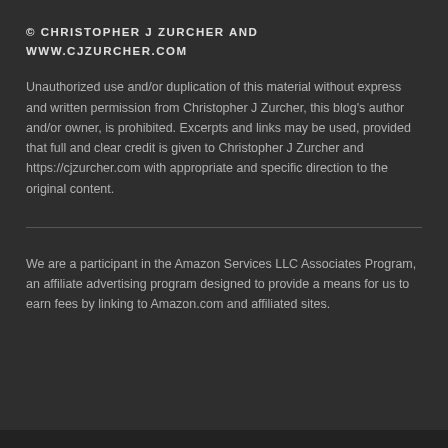© CHRISTOPHER J ZURCHER AND WWW.CJZURCHER.COM
Unauthorized use and/or duplication of this material without express and written permission from Christopher J Zurcher, this blog's author and/or owner, is prohibited. Excerpts and links may be used, provided that full and clear credit is given to Christopher J Zurcher and https://cjzurcher.com with appropriate and specific direction to the original content.
We are a participant in the Amazon Services LLC Associates Program, an affiliate advertising program designed to provide a means for us to earn fees by linking to Amazon.com and affiliated sites.